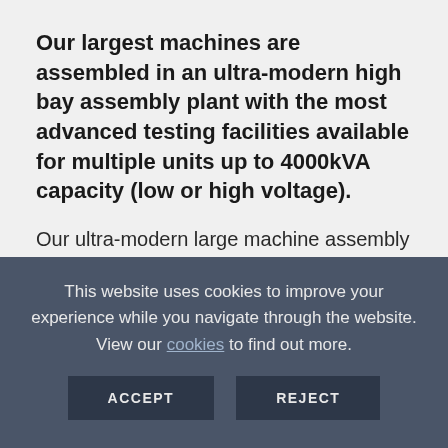Our largest machines are assembled in an ultra-modern high bay assembly plant with the most advanced testing facilities available for multiple units up to 4000kVA capacity (low or high voltage).
Our ultra-modern large machine assembly hall facilitates the production of our 9 Series range. The 12 metre high building incorporates a 32 tonnes overhead crane and is state of the art fully operating...
This website uses cookies to improve your experience while you navigate through the website. View our cookies to find out more.